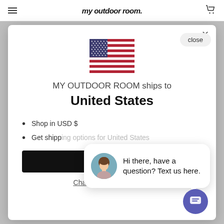my outdoor room.
[Figure (illustration): US flag icon centered in modal]
MY OUTDOOR ROOM ships to United States
Shop in USD $
Get shipping options for United States
Change shipping country
[Figure (screenshot): Chat popup with avatar saying: Hi there, have a question? Text us here.]